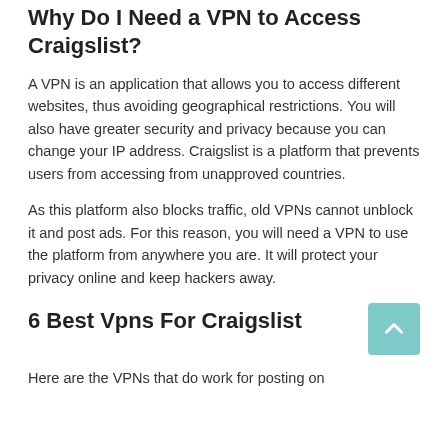Why Do I Need a VPN to Access Craigslist?
A VPN is an application that allows you to access different websites, thus avoiding geographical restrictions. You will also have greater security and privacy because you can change your IP address. Craigslist is a platform that prevents users from accessing from unapproved countries.
As this platform also blocks traffic, old VPNs cannot unblock it and post ads. For this reason, you will need a VPN to use the platform from anywhere you are. It will protect your privacy online and keep hackers away.
6 Best Vpns For Craigslist
Here are the VPNs that do work for posting on